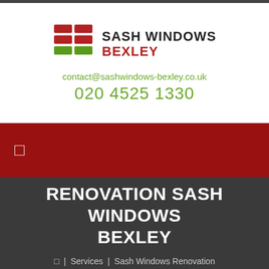[Figure (logo): Sash Windows Bexley logo: red and green window grid icon with company name]
contact@sashwindows-bexley.co.uk
020 4525 1330
[Figure (other): Red navigation bar with a small white icon]
RENOVATION SASH WINDOWS BEXLEY
| Services | Sash Windows Renovation